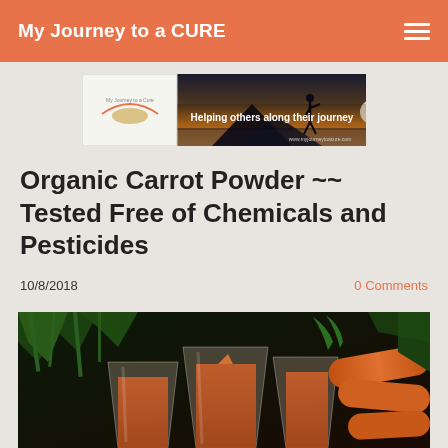My Journey to a CURE
[Figure (illustration): Website banner for My Journey to a Cure showing a sunset silhouette scene with text 'Helping others along their journey' and URL www.myjourneytoacure.com]
Organic Carrot Powder ~~ Tested Free of Chemicals and Pesticides
10/8/2018
0 Comments
[Figure (photo): Photo of glasses filled with carrot juice surrounded by fresh carrots and green leafy vegetables on a dark background]